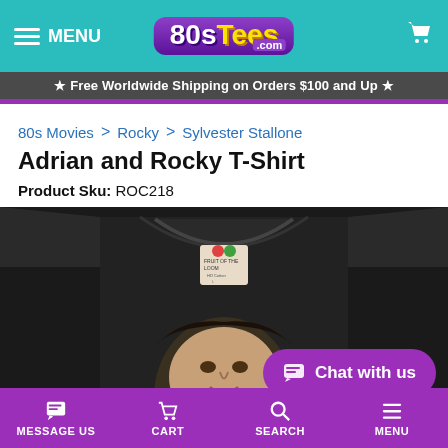80sTees.com — MENU | Cart
★ Free Worldwide Shipping on Orders $100 and Up ★
80s Movies > Rocky > Sylvester Stallone
Adrian and Rocky T-Shirt
Product Sku: ROC218
[Figure (photo): Photo of a black t-shirt showing a close-up of the collar area with a Fruit of the Loom label, and below the collar a graphic print of a man's face (Rocky character), partially visible at bottom. A 'Chat with us' button overlays the bottom-right of the image.]
MESSAGE US | CART | SEARCH | MENU